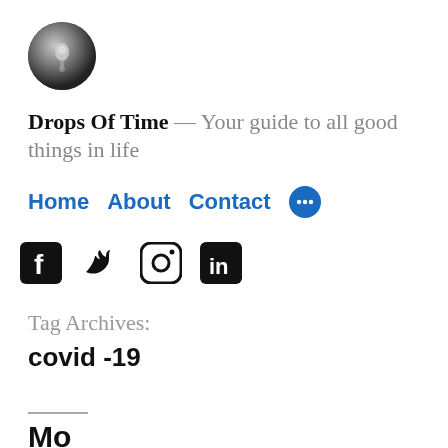[Figure (logo): Circular logo with water drop on dark background for Drops Of Time blog]
Drops Of Time — Your guide to all good things in life
Home   About   Contact   •••
[Figure (other): Social media icons: Facebook, Twitter, Instagram, LinkedIn]
Tag Archives:
covid -19
———
Mo...